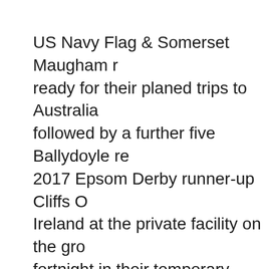US Navy Flag & Somerset Maugham ready for their planed trips to Australia, followed by a further five Ballydoyle re 2017 Epsom Derby runner-up Cliffs O Ireland at the private facility on the gro fortnight in their temporary homes, bef to touch down on Saturday, 29 Septem
Cliffs Of Moher will have company in t Caulfield and Melbourne Cup entries, Spirit of Valor and Intelligence Cross, w Racing Carnival.